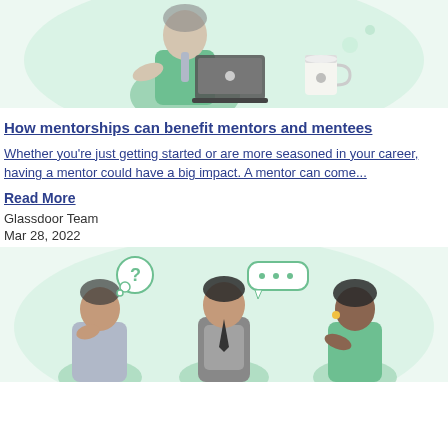[Figure (illustration): Person sitting with laptop and coffee cup on a mint green background — top portion cropped]
How mentorships can benefit mentors and mentees
Whether you’re just getting started or are more seasoned in your career, having a mentor could have a big impact. A mentor can come...
Read More
Glassdoor Team
Mar 28, 2022
[Figure (illustration): Three people in conversation with speech bubbles on a mint green background — bottom portion cropped]